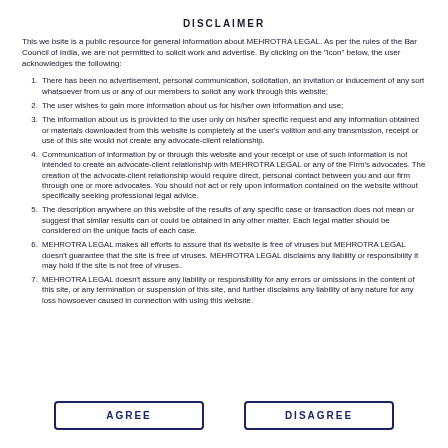DISCLAIMER
This website is a public resource for general information about MEHROTRA LEGAL. As per the rules of the Bar Council of India, we are not permitted to solicit work and advertise. By clicking on the "icon" below, the user acknowledges the following:
There has been no advertisement, personal communication, solicitation, an invitation or inducement of any sort whatsoever from us or any of our members to solicit any work through this website;
The user wishes to gain more information about us for his/her own information and use;
The information about us is provided to the user only on his/her specific request and any information obtained or materials downloaded from this website is completely at the user's volition and any transmission, receipt or use of this site would not create any advocate-client relationship.
Communication of information by or through this website and your receipt or use of such information is not intended to create an advocate-client relationship with MEHROTRA LEGAL or any of the Firm's advocates. The creation of the advocate-client relationship would require direct, personal contact between you and our firm through one or more advocates. You should not act or rely upon information contained on the website without specifically seeking professional legal advice.
The description anywhere on this website of the results of any specific case or transaction does not mean or suggest that similar results can or could be obtained in any other matter. Each legal matter should be considered on the unique facts of each case.
MEHROTRA LEGAL makes all efforts to assure that its website is free of viruses but MEHROTRA LEGAL doesn't guarantee that the site is free of viruses. MEHROTRA LEGAL disclaims any liability or responsibility it may hold if the site is not free of viruses.
MEHROTRA LEGAL doesn't assure any liability or responsibility for any errors or omissions in the content of this site, or any termination or suspension of this site, and further disclaims any liability of any nature for any loss howsoever caused in connection with using this website.
AGREE
DISAGREE